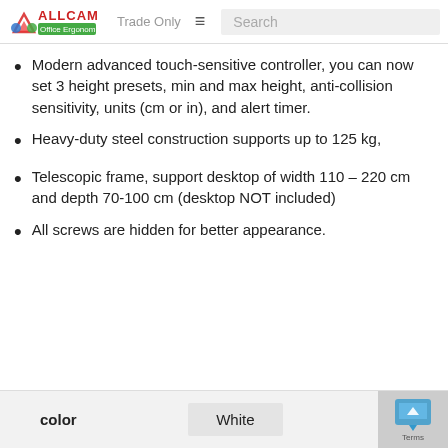ALLCAM Office Ergonomics — Trade Only — Search
Modern advanced touch-sensitive controller, you can now set 3 height presets, min and max height, anti-collision sensitivity, units (cm or in), and alert timer.
Heavy-duty steel construction supports up to 125 kg,
Telescopic frame, support desktop of width 110 – 220 cm and depth 70-100 cm (desktop NOT included)
All screws are hidden for better appearance.
| color |  |
| --- | --- |
| color | White |